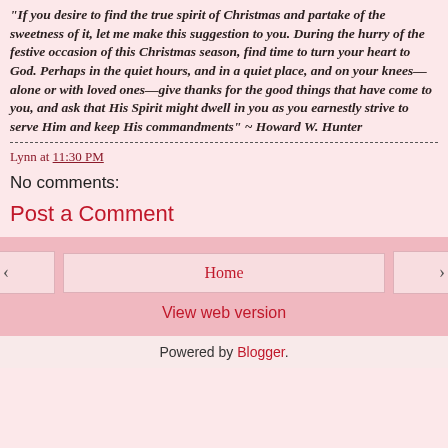"If you desire to find the true spirit of Christmas and partake of the sweetness of it, let me make this suggestion to you. During the hurry of the festive occasion of this Christmas season, find time to turn your heart to God. Perhaps in the quiet hours, and in a quiet place, and on your knees—alone or with loved ones—give thanks for the good things that have come to you, and ask that His Spirit might dwell in you as you earnestly strive to serve Him and keep His commandments" ~ Howard W. Hunter
Lynn at 11:30 PM
No comments:
Post a Comment
Home | View web version | Powered by Blogger.